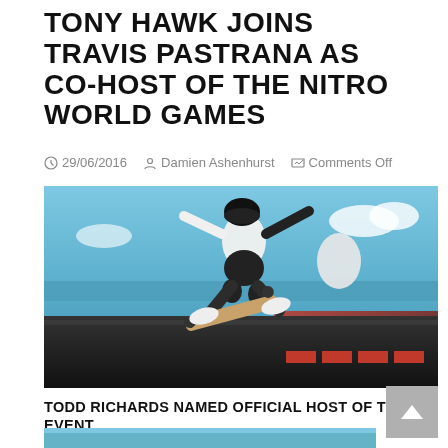TONY HAWK JOINS TRAVIS PASTRANA AS CO-HOST OF THE NITRO WORLD GAMES
29/06/2016   Damien Ashenhurst   Comments Off
[Figure (photo): Tony Hawk performing a trick on a skateboard ramp above a large crowd at an outdoor event, wearing white shirt, black shorts, helmet and knee pads, with city skyline and ocean in background]
TODD RICHARDS NAMED OFFICIAL HOST OF THE EVENT
[Figure (photo): Skateboarder performing aerial trick above crowd at outdoor event, partial view at bottom of page]